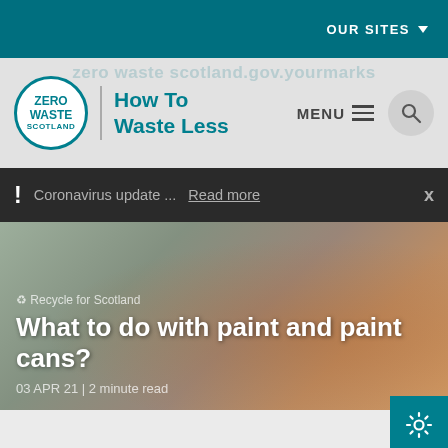OUR SITES
[Figure (logo): Zero Waste Scotland circular logo with 'How To Waste Less' text and navigation menu/search icons]
Coronavirus update ... Read more
Recycle for Scotland
What to do with paint and paint cans?
03 APR 21 | 2 minute read